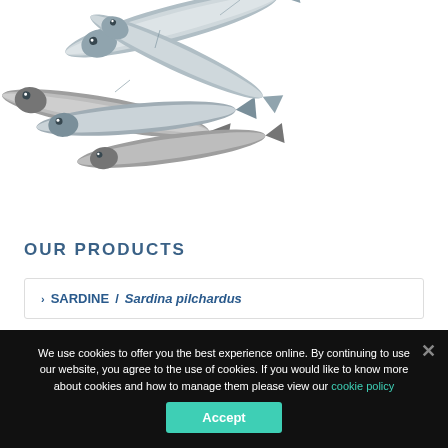[Figure (photo): A pile of fresh sardines (small silver fish) arranged together on a white background]
OUR PRODUCTS
SARDINE / Sardina pilchardus
We use cookies to offer you the best experience online. By continuing to use our website, you agree to the use of cookies. If you would like to know more about cookies and how to manage them please view our cookie policy
Accept